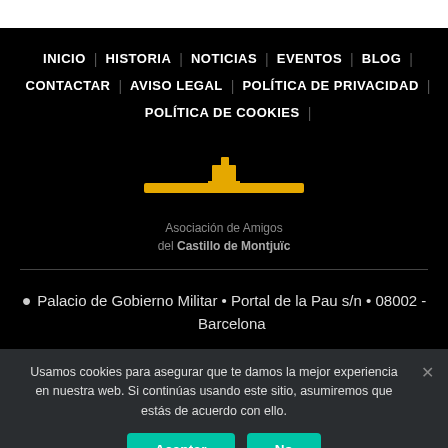INICIO | HISTORIA | NOTICIAS | EVENTOS | BLOG | CONTACTAR | AVISO LEGAL | POLÍTICA DE PRIVACIDAD | POLÍTICA DE COOKIES
[Figure (logo): Logo of Asociación de Amigos del Castillo de Montjuïc — golden submarine/castle silhouette above the organization name in grey text]
Palacio de Gobierno Militar • Portal de la Pau s/n • 08002 - Barcelona
Usamos cookies para asegurar que te damos la mejor experiencia en nuestra web. Si continúas usando este sitio, asumiremos que estás de acuerdo con ello.